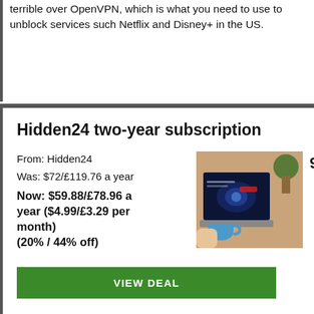terrible over OpenVPN, which is what you need to use to unblock services such Netflix and Disney+ in the US.
Hidden24 two-year subscription
From: Hidden24
Was: $72/£119.76 a year
Now: $59.88/£78.96 a year ($4.99/£3.29 per month)
(20% / 44% off)
[Figure (photo): Photo of a person holding a blue mug with a laptop showing a dark VPN website interface, and a succulent plant in the background. Number 9 appears top right.]
VIEW DEAL